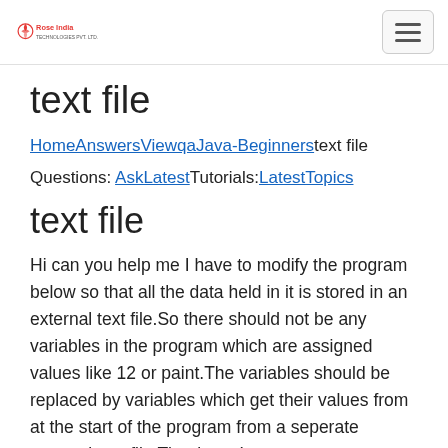Rose India Technologies Pvt Ltd [logo] | hamburger menu
text file
HomeAnswersViewqaJava-Beginnerstext file
Questions: AskLatestTutorials:LatestTopics
text file
Hi can you help me I have to modify the program below so that all the data held in it is stored in an external text file.So there should not be any variables in the program which are assigned values like 12 or paint.The variables should be replaced by variables which get their values from at the start of the program from a seperate external text file.Thank you!
import java.util.* import java.text.* import